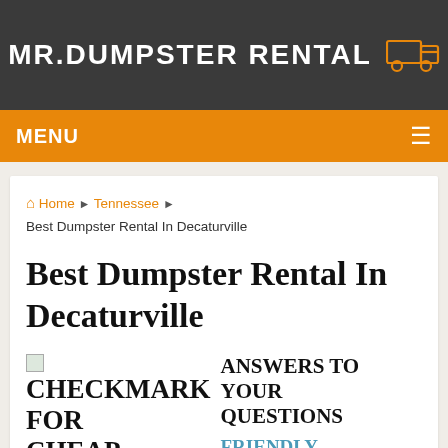MR.DUMPSTER RENTAL
MENU
Home › Tennessee › Best Dumpster Rental In Decaturville
Best Dumpster Rental In Decaturville
ANSWERS TO YOUR CHECKMARK QUESTIONS FOR CHEAP FRIENDLY STRAIGHT FORWARD ADVICE